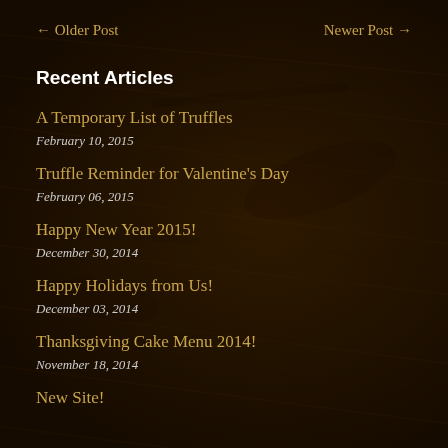← Older Post    Newer Post →
Recent Articles
A Temporary List of Truffles
February 10, 2015
Truffle Reminder for Valentine's Day
February 06, 2015
Happy New Year 2015!
December 30, 2014
Happy Holidays from Us!
December 03, 2014
Thanksgiving Cake Menu 2014!
November 18, 2014
New Site!